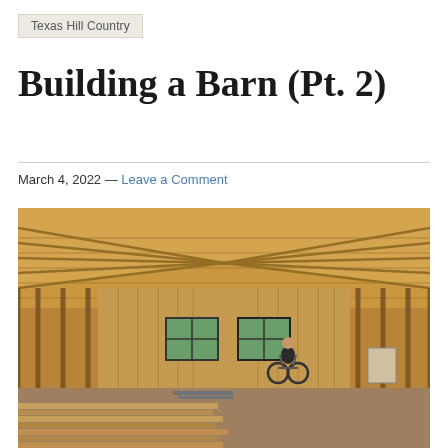Texas Hill Country
Building a Barn (Pt. 2)
March 4, 2022 — Leave a Comment
[Figure (photo): Interior of a barn under construction showing exposed wooden rafters, framing studs, concrete floor with stacked lumber in the foreground, two windows on the far wall, and a person in a wheelchair in the middle of the space.]